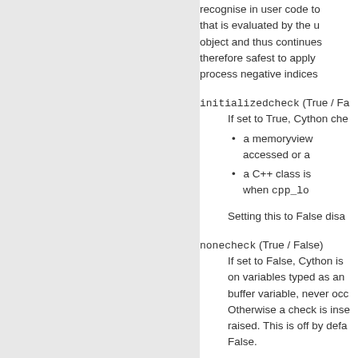recognise in user code to that is evaluated by the u object and thus continues therefore safest to apply process negative indices
initializedcheck (True / Fa If set to True, Cython che
a memoryview accessed or a
a C++ class is when cpp_lo
Setting this to False disa
nonecheck (True / False) If set to False, Cython is on variables typed as an buffer variable, never occ Otherwise a check is inse raised. This is off by defa False.